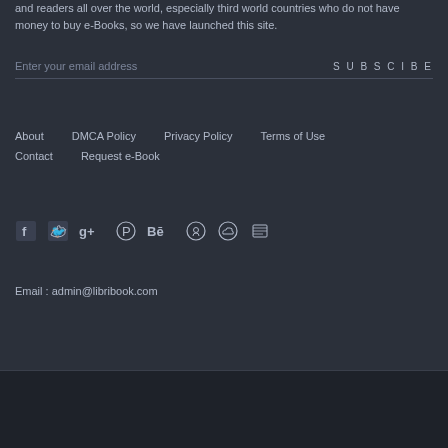and readers all over the world, especially third world countries who do not have money to buy e-Books, so we have launched this site.
Enter your email address   SUBSCIBE
About
DMCA Policy
Privacy Policy
Terms of Use
Contact
Request e-Book
[Figure (illustration): Social media icons: Facebook, Twitter, Google+, Pinterest, Behance, GitHub, cloud icon, book/stack icon]
Email : admin@libribook.com
© Copyright 2018 libribook.com
SITEMAP | SIGN-IN | SIGN-UP